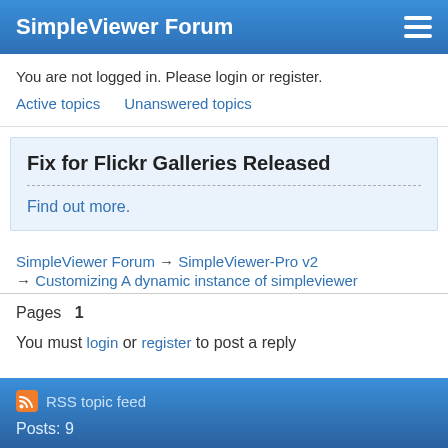SimpleViewer Forum
You are not logged in. Please login or register.
Active topics   Unanswered topics
Fix for Flickr Galleries Released
Find out more.
SimpleViewer Forum → SimpleViewer-Pro v2 → Customizing A dynamic instance of simpleviewer
Pages  1
You must login or register to post a reply
RSS topic feed
Posts: 9